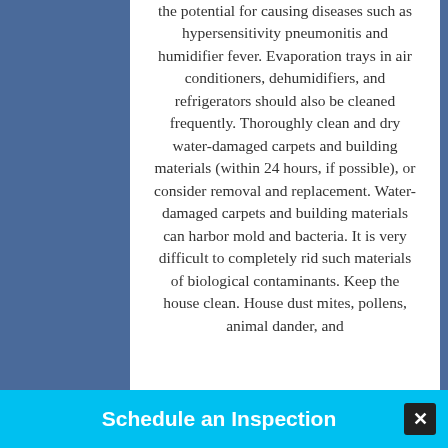the potential for causing diseases such as hypersensitivity pneumonitis and humidifier fever. Evaporation trays in air conditioners, dehumidifiers, and refrigerators should also be cleaned frequently. Thoroughly clean and dry water-damaged carpets and building materials (within 24 hours, if possible), or consider removal and replacement. Water-damaged carpets and building materials can harbor mold and bacteria. It is very difficult to completely rid such materials of biological contaminants. Keep the house clean. House dust mites, pollens, animal dander, and
Schedule an Inspection